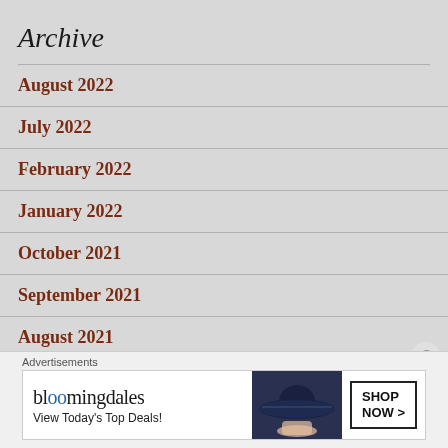Archive
August 2022
July 2022
February 2022
January 2022
October 2021
September 2021
August 2021
Advertisements
[Figure (other): Bloomingdale's advertisement banner: 'View Today's Top Deals!' with 'SHOP NOW >' button and woman wearing a wide-brim hat]